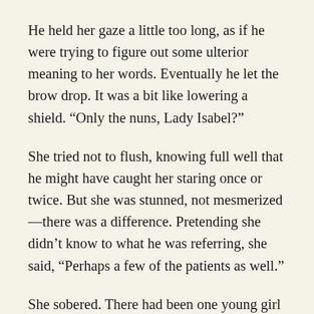He held her gaze a little too long, as if he were trying to figure out some ulterior meaning to her words. Eventually he let the brow drop. It was a bit like lowering a shield. “Only the nuns, Lady Isabel?”
She tried not to flush, knowing full well that he might have caught her staring once or twice. But she was stunned, not mesmerized—there was a difference. Pretending she didn’t know to what he was referring, she said, “Perhaps a few of the patients as well.”
She sobered. There had been one young girl in particular—probably no older then fourteen—who had looked at him as if he were an angel descended from the very heavens that would be claiming her.